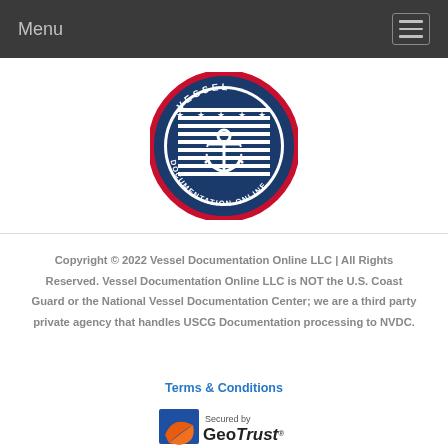Menu
[Figure (logo): Vessel Documentation Online circular seal logo with anchor, stars, and text reading VESSEL DOCUMENTATION ONLINE around the border]
Copyright © 2022 Vessel Documentation Online LLC | All Rights Reserved. Vessel Documentation Online LLC is NOT the U.S. Coast Guard or the National Vessel Documentation Center; we are a third party private agency that handles USCG Documentation processing to NVDC.
Terms & Conditions
[Figure (logo): Secured by GeoTrust badge with blue square and orange swoosh logo]